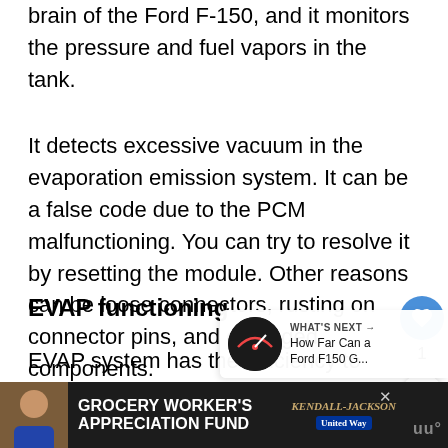brain of the Ford F-150, and it monitors the pressure and fuel vapors in the tank.
It detects excessive vacuum in the evaporation emission system. It can be a false code due to the PCM malfunctioning. You can try to resolve it by resetting the module. Other reasons can be loose connectors, rusting on connector pins, and damaged components.
EVAP functioning
EVAP system has the efficiency to control and prevent gas vapor leakage from the injection system and fuel tank.
[Figure (infographic): WHAT'S NEXT arrow label with circular thumbnail of a car dashboard gauge and text: How Far Can a Ford F150 G...]
[Figure (infographic): Advertisement banner: GROCERY WORKER'S APPRECIATION FUND with Kendall Jackson and United Way logos]